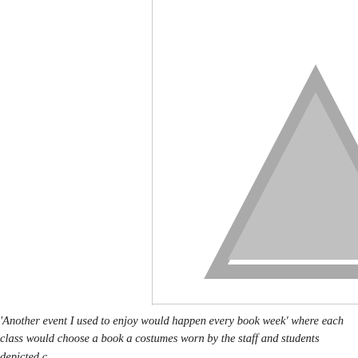[Figure (photo): A large image placeholder occupying the upper right portion of the page. Shows a partially visible triangular warning/placeholder icon in light grey on a white background, cropped at the right edge. A vertical dividing line separates a blank left column from the image area.]
'Another event I used to enjoy would happen every book week' where each class would choose a book a costumes worn by the staff and students depicted c